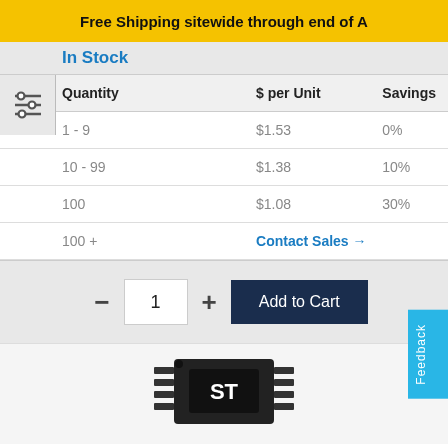Free Shipping sitewide through end of A
In Stock
| Quantity | $ per Unit | Savings |
| --- | --- | --- |
| 1 - 9 | $1.53 | 0% |
| 10 - 99 | $1.38 | 10% |
| 100 | $1.08 | 30% |
| 100 + | Contact Sales → |  |
[Figure (screenshot): Add to Cart quantity selector with minus button, input field showing 1, plus button, and dark navy Add to Cart button]
Feedback
[Figure (photo): STMicroelectronics electronic component chip with ST logo on black package]